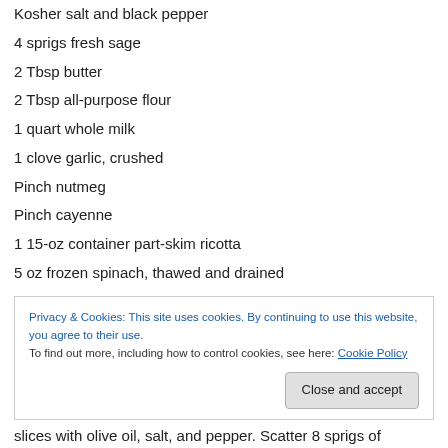Kosher salt and black pepper
4 sprigs fresh sage
2 Tbsp butter
2 Tbsp all-purpose flour
1 quart whole milk
1 clove garlic, crushed
Pinch nutmeg
Pinch cayenne
1 15-oz container part-skim ricotta
5 oz frozen spinach, thawed and drained
slices with olive oil, salt, and pepper. Scatter 8 sprigs of